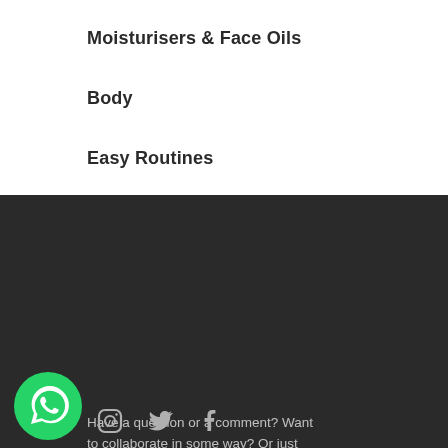Moisturisers & Face Oils
Body
Easy Routines
Have a question or a comment? Want to collaborate in some way? Or just have something nice to say?
sayhello@vauntskincare.com
+918779328781
[Figure (illustration): WhatsApp green logo icon, Instagram icon, Twitter bird icon, Facebook f icon]